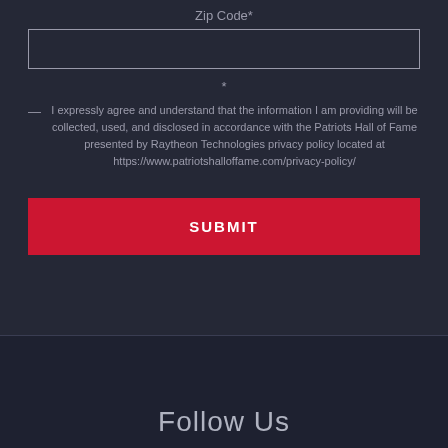Zip Code*
*
— I expressly agree and understand that the information I am providing will be collected, used, and disclosed in accordance with the Patriots Hall of Fame presented by Raytheon Technologies privacy policy located at https://www.patriotshalloffame.com/privacy-policy/
SUBMIT
Follow Us